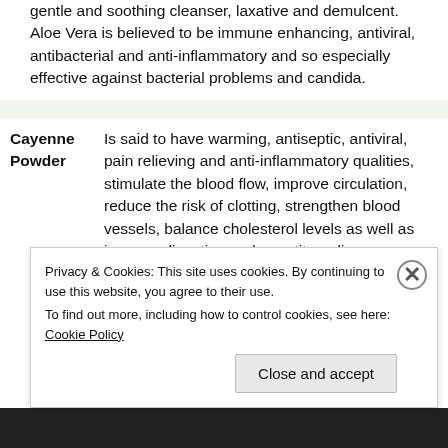gentle and soothing cleanser, laxative and demulcent. Aloe Vera is believed to be immune enhancing, antiviral, antibacterial and anti-inflammatory and so especially effective against bacterial problems and candida.
Cayenne Powder — Is said to have warming, antiseptic, antiviral, pain relieving and anti-inflammatory qualities, stimulate the blood flow, improve circulation, reduce the risk of clotting, strengthen blood vessels, balance cholesterol levels as well as improve digestion and appetite, relieve nausea, gas and indigestion. Cayenne is believed to boost metabolism and burn fat-based calories.
Privacy & Cookies: This site uses cookies. By continuing to use this website, you agree to their use.
To find out more, including how to control cookies, see here: Cookie Policy